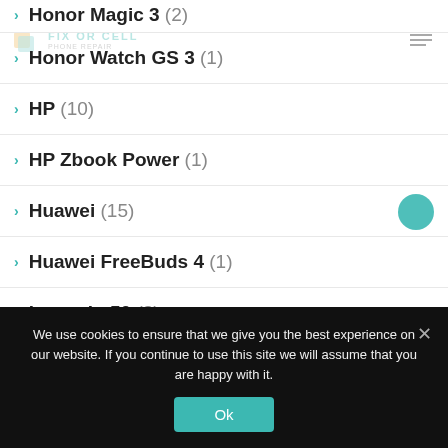Honor Magic 3 (2)
Honor Watch GS 3 (1)
HP (10)
HP Zbook Power (1)
Huawei (15)
Huawei FreeBuds 4 (1)
huawei p50 (3)
huawei p50 pro (2)
We use cookies to ensure that we give you the best experience on our website. If you continue to use this site we will assume that you are happy with it.
Ok